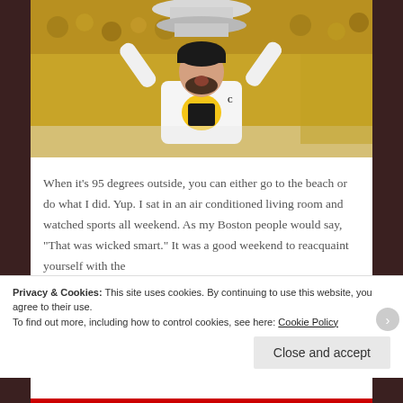[Figure (photo): Hockey player wearing a Pittsburgh Penguins jersey with captain's 'C', holding the Stanley Cup trophy above his head with both arms raised, celebrating. Arena crowd visible in background with yellow/gold colors.]
When it's 95 degrees outside, you can either go to the beach or do what I did. Yup. I sat in an air conditioned living room and watched sports all weekend. As my Boston people would say, “That was wicked smart.” It was a good weekend to reacquaint yourself with the
Privacy & Cookies: This site uses cookies. By continuing to use this website, you agree to their use.
To find out more, including how to control cookies, see here: Cookie Policy
Close and accept